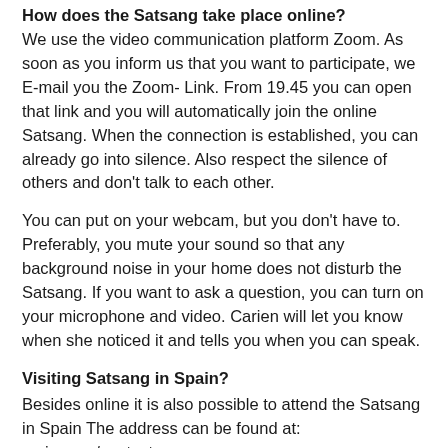How does the Satsang take place online? We use the video communication platform Zoom. As soon as you inform us that you want to participate, we E-mail you the Zoom- Link. From 19.45 you can open that link and you will automatically join the online Satsang. When the connection is established, you can already go into silence. Also respect the silence of others and don't talk to each other.
You can put on your webcam, but you don't have to. Preferably, you mute your sound so that any background noise in your home does not disturb the Satsang. If you want to ask a question, you can turn on your microphone and video. Carien will let you know when she noticed it and tells you when you can speak.
Visiting Satsang in Spain?
Besides online it is also possible to attend the Satsang in Spain The address can be found at: carien.org/contacts.